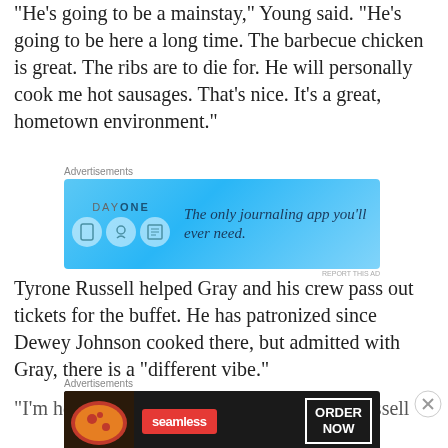“He’s going to be a mainstay,” Young said. “He’s going to be here a long time. The barbecue chicken is great. The ribs are to die for. He will personally cook me hot sausages. That’s nice. It’s a great, hometown environment.”
[Figure (other): DayOne journaling app advertisement: blue background with app icons and tagline 'The only journaling app you'll ever need.']
Tyrone Russell helped Gray and his crew pass out tickets for the buffet. He has patronized since Dewey Johnson cooked there, but admitted with Gray, there is a “different vibe.”
“I’m here all the time giving him a hand,” Russell
[Figure (other): Seamless food delivery advertisement: dark background with pizza image, Seamless logo, and 'ORDER NOW' button.]